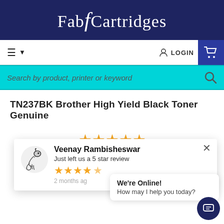Fab Cartridges
[Figure (screenshot): Navigation bar with hamburger menu, LOGIN button, and shopping cart]
[Figure (screenshot): Cyan search bar with placeholder text 'Search by product, printer or keyword' and search icon]
TN237BK Brother High Yield Black Toner Genuine
[Figure (infographic): 5 gold stars rating]
$129.94 incl. gst
[Figure (infographic): Popup notification: Veenay Rambisheswar Just left us a 5 star review, with Capricorn avatar and star rating, 2 months ago]
[Figure (infographic): Live chat bubble: We're Online! How may I help you today? with chat icon button]